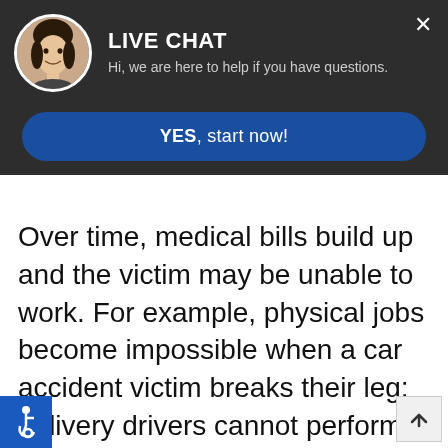[Figure (screenshot): Live chat overlay with avatar photo of a woman, title LIVE CHAT, subtitle text Hi we are here to help if you have questions, and a YES start now button on dark background]
Over time, medical bills build up and the victim may be unable to work. For example, physical jobs become impossible when a car accident victim breaks their leg; delivery drivers cannot perform in their role with a broken foot. While unable to work, the victim doesn't earn any income. Without compensation, this can threaten the financial stability of
[Figure (illustration): Accessibility wheelchair icon in white on blue square, bottom left corner]
[Figure (illustration): Back to top arrow button, bottom right corner]